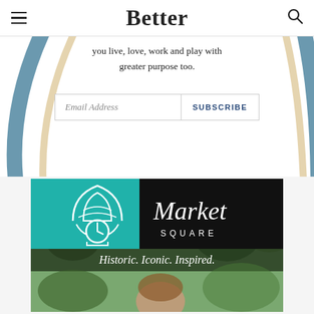Better
you live, love, work and play with greater purpose too.
Email Address  SUBSCRIBE
[Figure (illustration): Market Square advertisement with teal logo featuring a building with clock, script 'Market' text on black, tagline 'Historic. Iconic. Inspired.' and a child photo background with trees]